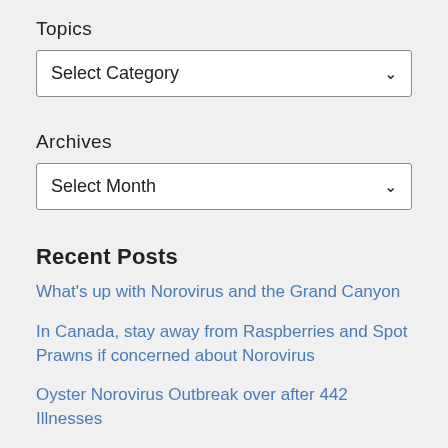Topics
[Figure (other): Dropdown selector showing 'Select Category' with a down arrow chevron]
Archives
[Figure (other): Dropdown selector showing 'Select Month' with a down arrow chevron]
Recent Posts
What's up with Norovirus and the Grand Canyon
In Canada, stay away from Raspberries and Spot Prawns if concerned about Norovirus
Oyster Norovirus Outbreak over after 442 Illnesses
The latest on the Norovirus Oyster Outbreak: 441 sick